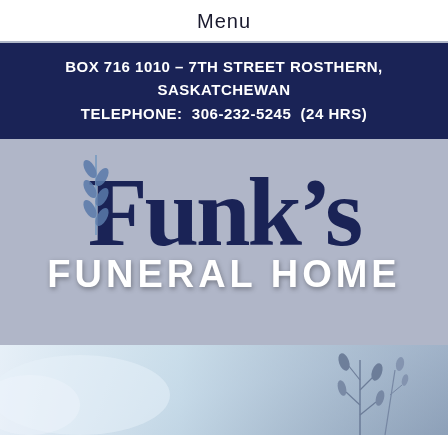Menu
BOX 716 1010 – 7TH STREET ROSTHERN, SASKATCHEWAN
TELEPHONE: 306-232-5245 (24 HRS)
[Figure (logo): Funk's Funeral Home logo on blue-grey background with large serif 'Funk's' text in dark navy and 'FUNERAL HOME' in white bold sans-serif below]
[Figure (photo): Soft blurred banner photo with light blue sky on left and dark blue botanical plant stems on right]
Share A Memory
Send Flowers